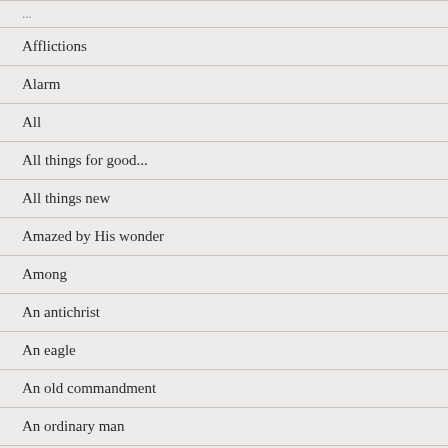Afflictions
Alarm
All
All things for good...
All things new
Amazed by His wonder
Among
An antichrist
An eagle
An old commandment
An ordinary man
Anarchy in the UK